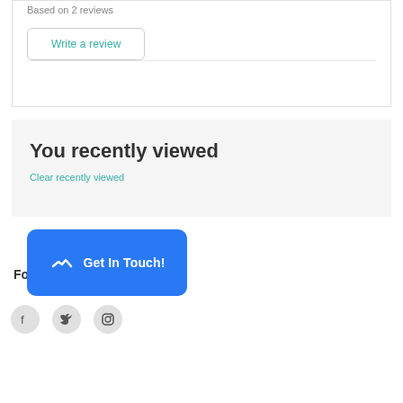Based on 2 reviews
Write a review
You recently viewed
Clear recently viewed
Fo
Get In Touch!